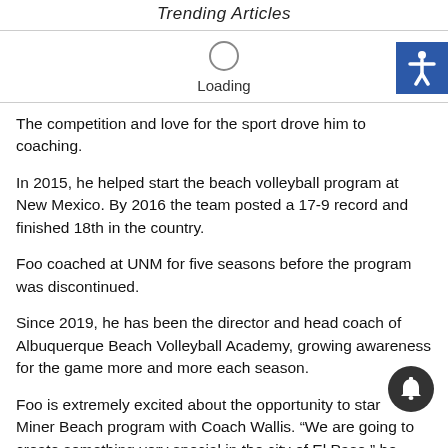Trending Articles
Loading
The competition and love for the sport drove him to coaching.
In 2015, he helped start the beach volleyball program at New Mexico. By 2016 the team posted a 17-9 record and finished 18th in the country.
Foo coached at UNM for five seasons before the program was discontinued.
Since 2019, he has been the director and head coach of Albuquerque Beach Volleyball Academy, growing awareness for the game more and more each season.
Foo is extremely excited about the opportunity to start a Miner Beach program with Coach Wallis. “We are going to create something very special in the city of El Paso,” he said.